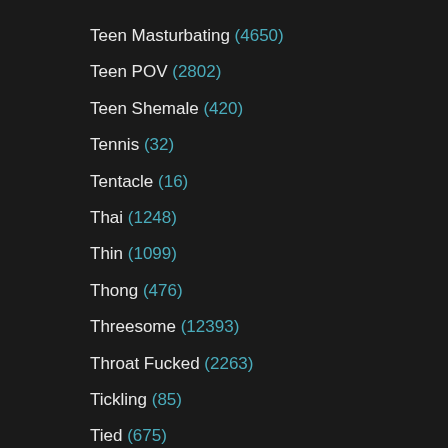Teen Masturbating (4650)
Teen POV (2802)
Teen Shemale (420)
Tennis (32)
Tentacle (16)
Thai (1248)
Thin (1099)
Thong (476)
Threesome (12393)
Throat Fucked (2263)
Tickling (85)
Tied (675)
Tight (2662)
Tight Pussy (374)
Tights (166)